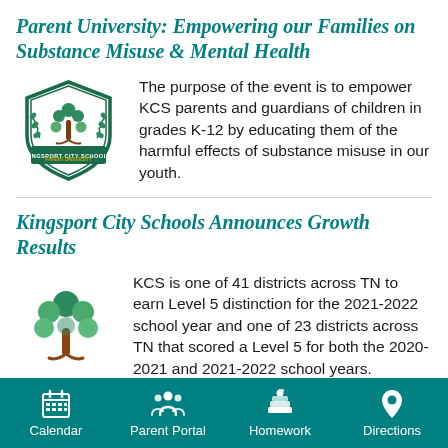Parent University: Empowering our Families on Substance Misuse & Mental Health
[Figure (logo): Kingsport City Schools Parent University shield logo with tree and laurels]
The purpose of the event is to empower KCS parents and guardians of children in grades K-12 by educating them of the harmful effects of substance misuse in our youth.
Kingsport City Schools Announces Growth Results
[Figure (logo): KCS tree logo with green circles and brown figure]
KCS is one of 41 districts across TN to earn Level 5 distinction for the 2021-2022 school year and one of 23 districts across TN that scored a Level 5 for both the 2020-2021 and 2021-2022 school years.
Calendar | Parent Portal | Homework | Directions